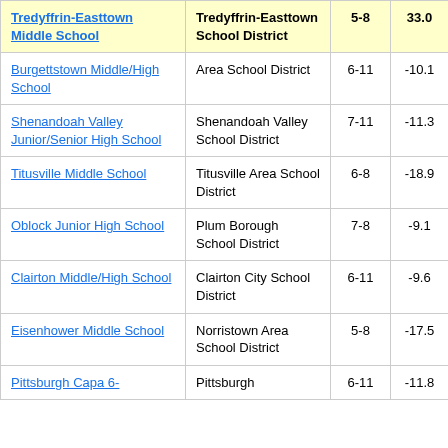| School | District | Grades | Score |
| --- | --- | --- | --- |
| Tredyffrin-Easttown Middle School | Tredyffrin-Easttown School District | 5-8 | 33.0 |
| Burgettstown Middle/High School | Area School District | 6-11 | -10.1 |
| Shenandoah Valley Junior/Senior High School | Shenandoah Valley School District | 7-11 | -11.3 |
| Titusville Middle School | Titusville Area School District | 6-8 | -18.9 |
| Oblock Junior High School | Plum Borough School District | 7-8 | -9.1 |
| Clairton Middle/High School | Clairton City School District | 6-11 | -9.6 |
| Eisenhower Middle School | Norristown Area School District | 5-8 | -17.5 |
| Pittsburgh Capa 6- | Pittsburgh | 6-11 | -11.8 |